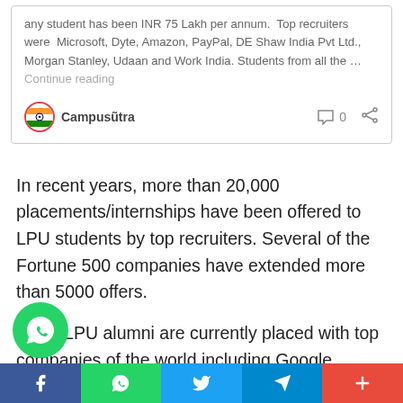any student has been INR 75 Lakh per annum. Top recruiters were Microsoft, Dyte, Amazon, PayPal, DE Shaw India Pvt Ltd., Morgan Stanley, Udaan and Work India. Students from all the … Continue reading
Campusũtra   0
In recent years, more than 20,000 placements/internships have been offered to LPU students by top recruiters. Several of the Fortune 500 companies have extended more than 5000 offers.
Many LPU alumni are currently placed with top companies of the world including Google, Microsoft, other Silicon Valley companies at a package of